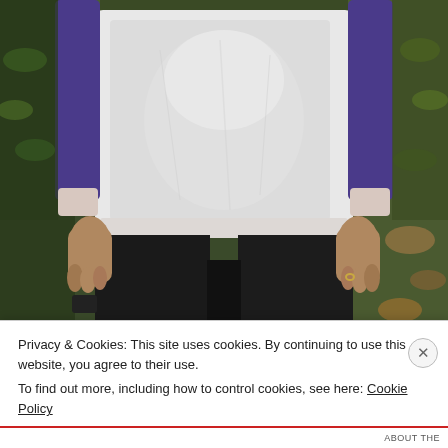[Figure (photo): A person wearing a white and purple raglan-style sweatshirt with black pants, standing outdoors with green foliage in the background. Only the torso and hands are visible.]
Privacy & Cookies: This site uses cookies. By continuing to use this website, you agree to their use.
To find out more, including how to control cookies, see here: Cookie Policy
Close and accept